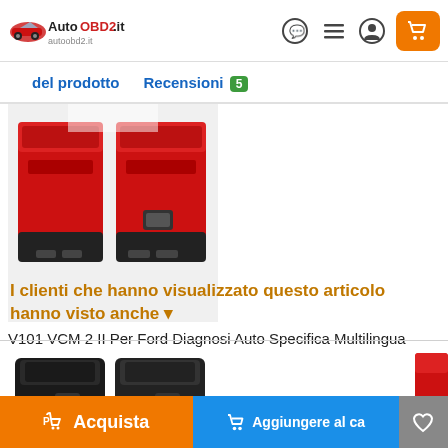AutoOBD2.it | autoobd2.it
del prodotto | Recensioni 5
[Figure (photo): Two red automotive diagnostic devices (VCM 2 II) with black bases, shown side by side]
V101 VCM 2 II Per Ford Diagnosi Auto Specifica Multilingua Aggiornata 202…
€170.00
★★★★½ 46
Out of stock
I clienti che hanno visualizzato questo articolo hanno visto anche ▾
[Figure (photo): Black automotive diagnostic device partially visible at bottom of page]
Acquista | Aggiungere al ca… | ♡